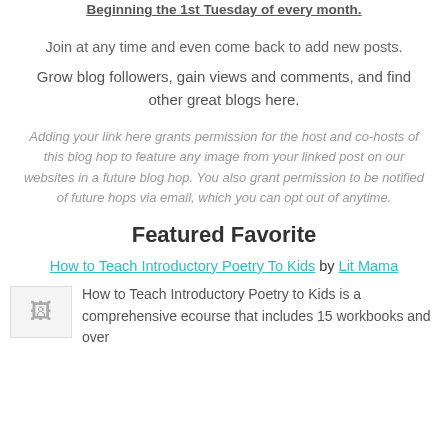Beginning the 1st Tuesday of every month.
Join at any time and even come back to add new posts.
Grow blog followers, gain views and comments, and find other great blogs here.
Adding your link here grants permission for the host and co-hosts of this blog hop to feature any image from your linked post on our websites in a future blog hop. You also grant permission to be notified of future hops via email, which you can opt out of anytime.
Featured Favorite
How to Teach Introductory Poetry To Kids by Lit Mama
How to Teach Introductory Poetry to Kids is a comprehensive ecourse that includes 15 workbooks and over